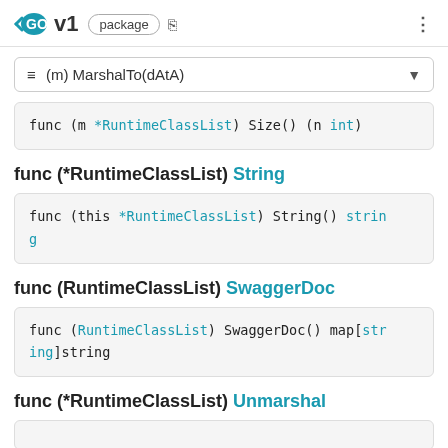GO v1 package
≡ (m) MarshalTo(dAtA)
func (m *RuntimeClassList) Size() (n int)
func (*RuntimeClassList) String
func (this *RuntimeClassList) String() string
func (RuntimeClassList) SwaggerDoc
func (RuntimeClassList) SwaggerDoc() map[string]string
func (*RuntimeClassList) Unmarshal